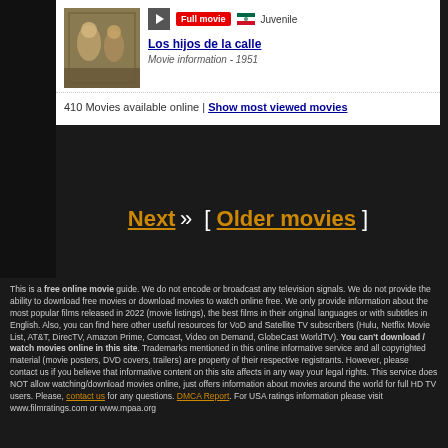[Figure (photo): Thumbnail image of a movie scene in sepia/vintage tones showing figures]
Full movie | Juvenile Los hijos de la calle Movie information - 1951
410 Movies available online | Show most viewed movies
Next » [ Older movies ]
This is a free online movie guide. We do not encode or broadcast any television signals. We do not provide the ability to download free movies or download movies to watch online free. We only provide information about the most popular films released in 2022 (movie listings), the best films in their original languages or with subtitles in English. Also, you can find here other useful resources for VoD and Satellite TV subscribers (Hulu, Netflix Movie List, AT&T, DirecTV, Amazon Prime, Comcast, Video on Demand, GlobeCast WorldTV). You can't download / watch movies online in this site. Trademarks mentioned in this online informative service and all copyrighted material (movie posters, DVD covers, trailers) are property of their respective registrants. However, please contact us if you believe that informative content on this site affects in any way your legal rights. This service does NOT allow watching/download movies online, just offers information about movies around the world for full HD TV users. Please, contact us for any questions. DMCA Report. For USA ratings information please visit www.filmratings.com or www.mpaa.org